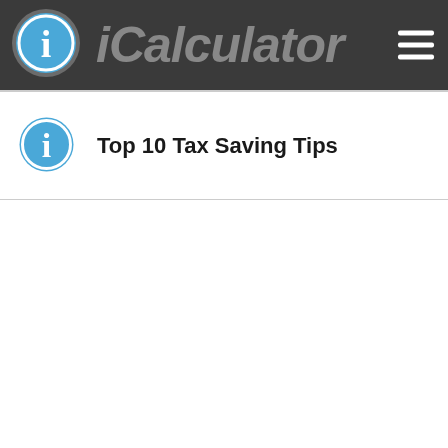iCalculator
Top 10 Tax Saving Tips